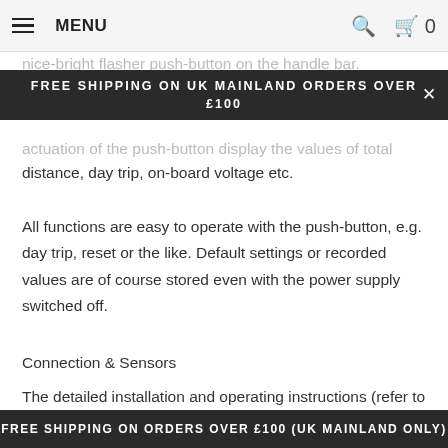MENU
FREE SHIPPING ON UK MAINLAND ORDERS OVER £100
nice-bright flasher push-button on the handle bar. actuation of the push-button display the values of total distance, day trip, on-board voltage etc.
All functions are easy to operate with the push-button, e.g. day trip, reset or the like. Default settings or recorded values are of course stored even with the power supply switched off.
Connection & Sensors
The detailed installation and operating instructions (refer to 'Downloads') help with the connection of instrument even for users without any previous experience in handling the vehicle's electrical system.
The supplied speedometer sensor in stainless steel is very
FREE SHIPPING ON ORDERS OVER £100 (UK MAINLAND ONLY)